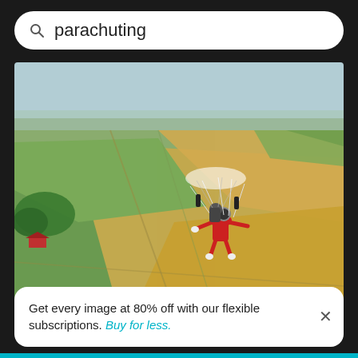parachuting
[Figure (photo): Aerial photo of a person in a red jumpsuit parachuting over a patchwork of green and golden agricultural fields viewed from above. Parachute lines visible above the person.]
Get every image at 80% off with our flexible subscriptions. Buy for less.